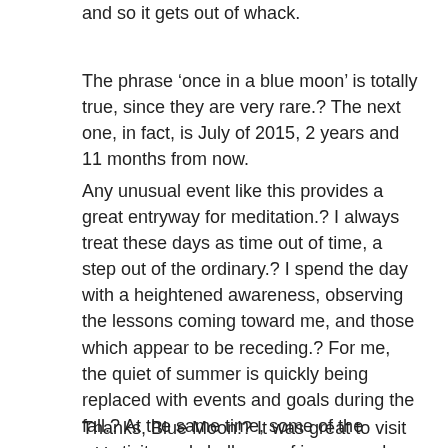and so it gets out of whack.
The phrase ‘once in a blue moon’ is totally true, since they are very rare.⁇ The next one, in fact, is July of 2015, 2 years and 11 months from now.
Any unusual event like this provides a great entryway for meditation.⁇ I always treat these days as time out of time, a step out of the ordinary.⁇ I spend the day with a heightened awareness, observing the lessons coming toward me, and those which appear to be receding.⁇ For me, the quiet of summer is quickly being replaced with events and goals during the fall.⁇ At the same time, some of the negativity and challenge of issues and relationships is being replaced with more ease and more fun.⁇ The ebb and flow of our lives.⁇ The waves of teaching and learning – awareness makes the entire process proceed so much more quickly and painlessly.
Thanks, Blue Moon!? It was great to visit with you.